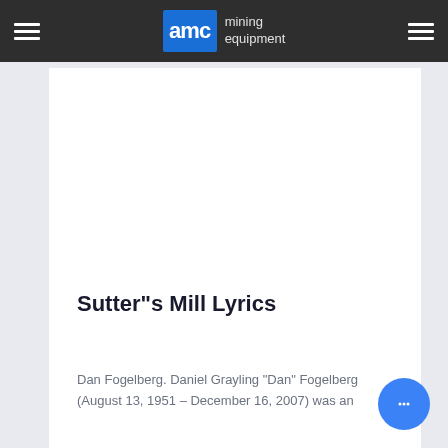AMC mining equipment
Sutter"s Mill Lyrics
Dan Fogelberg. Daniel Grayling "Dan" Fogelberg (August 13, 1951 – December 16, 2007) was an